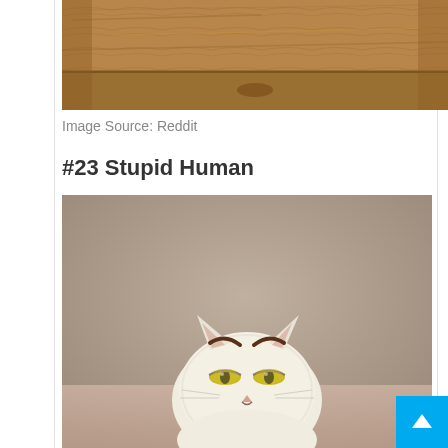[Figure (photo): Partial photo of wooden furniture/drawer at the top of the page, cropped showing wood grain surface]
Image Source: Reddit
#23 Stupid Human
[Figure (photo): Photo of a white/cream colored cat with yellow-green eyes and drawn-on dark eyebrows making an angry or displeased expression, against a beige/tan background]